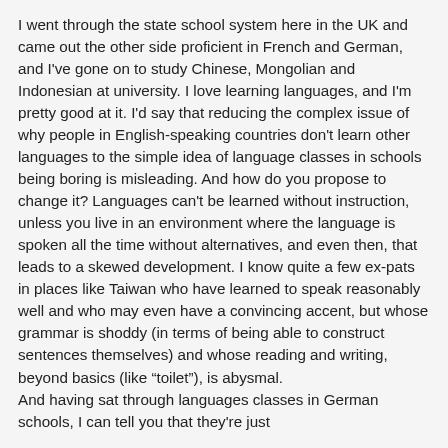I went through the state school system here in the UK and came out the other side proficient in French and German, and I've gone on to study Chinese, Mongolian and Indonesian at university. I love learning languages, and I'm pretty good at it. I'd say that reducing the complex issue of why people in English-speaking countries don't learn other languages to the simple idea of language classes in schools being boring is misleading. And how do you propose to change it? Languages can't be learned without instruction, unless you live in an environment where the language is spoken all the time without alternatives, and even then, that leads to a skewed development. I know quite a few ex-pats in places like Taiwan who have learned to speak reasonably well and who may even have a convincing accent, but whose grammar is shoddy (in terms of being able to construct sentences themselves) and whose reading and writing, beyond basics (like "toilet"), is abysmal.
And having sat through languages classes in German schools, I can tell you that they're just